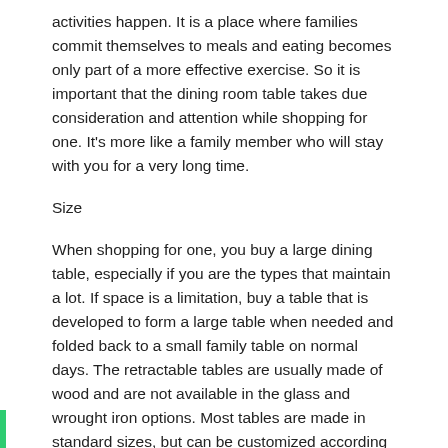activities happen. It is a place where families commit themselves to meals and eating becomes only part of a more effective exercise. So it is important that the dining room table takes due consideration and attention while shopping for one. It's more like a family member who will stay with you for a very long time.
Size
When shopping for one, you buy a large dining table, especially if you are the types that maintain a lot. If space is a limitation, buy a table that is developed to form a large table when needed and folded back to a small family table on normal days. The retractable tables are usually made of wood and are not available in the glass and wrought iron options. Most tables are made in standard sizes, but can be customized according to your wishes.
Style
The dining tables are available in various styles ranging from antique traditional styles to the stylish modern styles. The traditional tables are made of wood and are static in appearance. They require